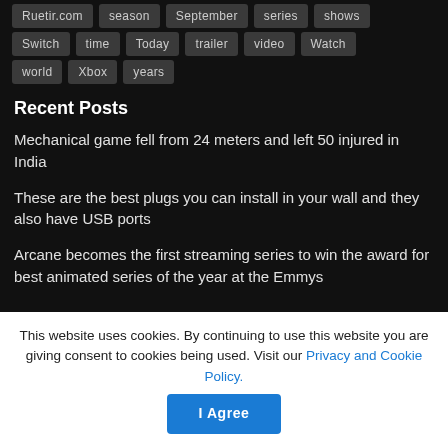Ruetir.com
season
September
series
shows
Switch
time
Today
trailer
video
Watch
world
Xbox
years
Recent Posts
Mechanical game fell from 24 meters and left 50 injured in India
These are the best plugs you can install in your wall and they also have USB ports
Arcane becomes the first streaming series to win the award for best animated series of the year at the Emmys
This website uses cookies. By continuing to use this website you are giving consent to cookies being used. Visit our Privacy and Cookie Policy.